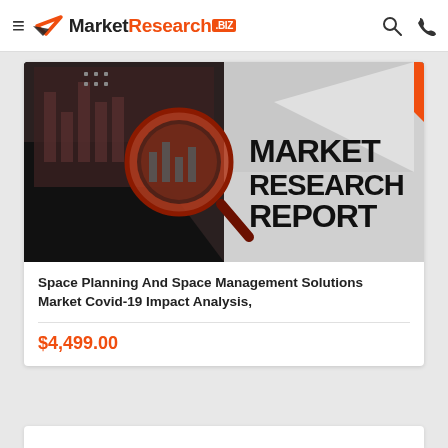MarketResearch.biz
[Figure (illustration): Market Research Report banner image with magnifying glass over data charts, orange and black geometric shapes, text reading MARKET RESEARCH REPORT]
Space Planning And Space Management Solutions Market Covid-19 Impact Analysis,
$4,499.00